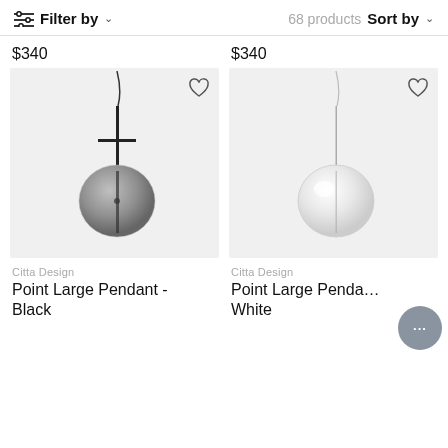Filter by   68 products   Sort by
$340
$340
[Figure (photo): Pendant lamp with dark metal rod and smoky grey spherical glass globe, on light grey background. Heart/wishlist icon top right.]
[Figure (photo): Pendant lamp with thin metal rod and white/clear spherical glass globe, on light grey background. Heart/wishlist icon top right.]
Citta Design
Point Large Pendant - Black
Citta Design
Point Large Pendant - White